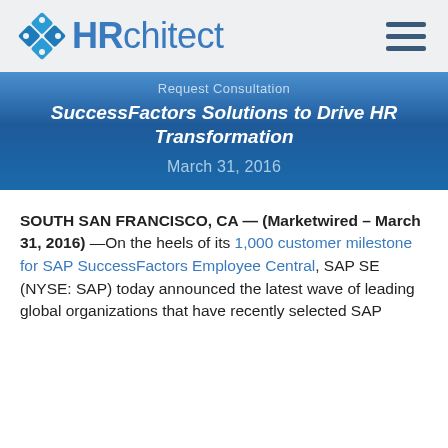HRchitect
Request Consultation
SuccessFactors Solutions to Drive HR Transformation
March 31, 2016
SOUTH SAN FRANCISCO, CA — (Marketwired – March 31, 2016) —On the heels of its 1,000 customer milestone for SAP SuccessFactors Employee Central, SAP SE (NYSE: SAP) today announced the latest wave of leading global organizations that have recently selected SAP